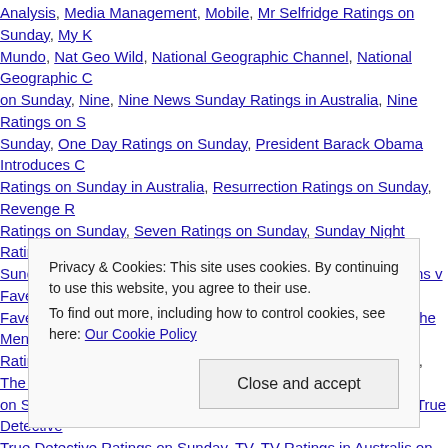Analysis, Media Management, Mobile, Mr Selfridge Ratings on Sunday, My K… Mundo, Nat Geo Wild, National Geographic Channel, National Geographic C… on Sunday, Nine, Nine News Sunday Ratings in Australia, Nine Ratings on S… Sunday, One Day Ratings on Sunday, President Barack Obama Introduces C… Ratings on Sunday in Australia, Resurrection Ratings on Sunday, Revenge R… Ratings on Sunday, Seven Ratings on Sunday, Sunday Night Ratings on Sun… Sunday, The Amazing Race Ratings on Sunday, The Block: Fans v Faves #1… Faves Rating on Sunday, The Good Wife Ratings on Sunday, The Mentalist R… Ratings on Sunday, The Only Way Is Essex Ratings on Sunday, The Simpsons… on Sunday, Today In TV History, Top Gear Ratings on Sunday, True Detective… True Detective Ratings on Sunday, TV, TV Ratings in Australis on Sunday, TV… Sunday, Wild Burma: Nature's Lost Kingdom Ratings on Sunday | Leave a co…
Privacy & Cookies: This site uses cookies. By continuing to use this website, you agree to their use.
To find out more, including how to control cookies, see here: Our Cookie Policy